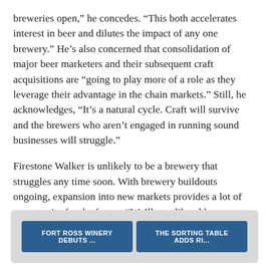breweries open,” he concedes. “This both accelerates interest in beer and dilutes the impact of any one brewery.” He’s also concerned that consolidation of major beer marketers and their subsequent craft acquisitions are “going to play more of a role as they leverage their advantage in the chain markets.” Still, he acknowledges, “It’s a natural cycle. Craft will survive and the brewers who aren’t engaged in running sound businesses will struggle.”
Firestone Walker is unlikely to be a brewery that struggles any time soon. With brewery buildouts ongoing, expansion into new markets provides a lot of opportunity for the future. “We’ll steadily add more states when we’re able to fund the support necessary to develop those markets,” Walker says.
FORT ROSS WINERY DEBUTS …
THE SORTING TABLE ADDS RI…